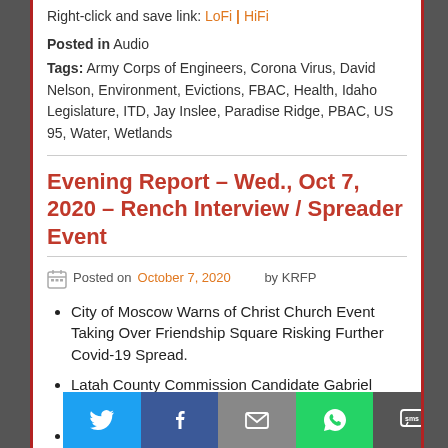Right-click and save link: LoFi | HiFi
Posted in Audio
Tags: Army Corps of Engineers, Corona Virus, David Nelson, Environment, Evictions, FBAC, Health, Idaho Legislature, ITD, Jay Inslee, Paradise Ridge, PBAC, US 95, Water, Wetlands
Evening Report – Wed., Oct 7, 2020 – Rench Interview / Spreader Event
Posted on October 7, 2020 by KRFP
City of Moscow Warns of Christ Church Event Taking Over Friendship Square Risking Further Covid-19 Spread.
Latah County Commission Candidate Gabriel Rench Interview.
Idaho Reaches 500 Covid-19 Deaths.